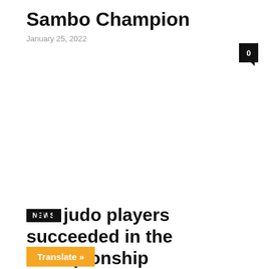Sambo Champion
January 25, 2022
0
NEWS
Our judo players succeeded in the championship
Translate »